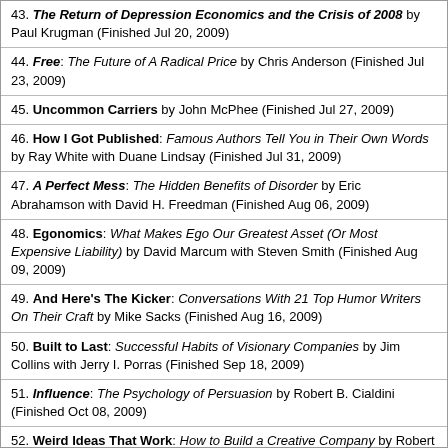43. The Return of Depression Economics and the Crisis of 2008 by Paul Krugman (Finished Jul 20, 2009)
44. Free: The Future of A Radical Price by Chris Anderson (Finished Jul 23, 2009)
45. Uncommon Carriers by John McPhee (Finished Jul 27, 2009)
46. How I Got Published: Famous Authors Tell You in Their Own Words by Ray White with Duane Lindsay (Finished Jul 31, 2009)
47. A Perfect Mess: The Hidden Benefits of Disorder by Eric Abrahamson with David H. Freedman (Finished Aug 06, 2009)
48. Egonomics: What Makes Ego Our Greatest Asset (Or Most Expensive Liability) by David Marcum with Steven Smith (Finished Aug 09, 2009)
49. And Here's The Kicker: Conversations With 21 Top Humor Writers On Their Craft by Mike Sacks (Finished Aug 16, 2009)
50. Built to Last: Successful Habits of Visionary Companies by Jim Collins with Jerry I. Porras (Finished Sep 18, 2009)
51. Influence: The Psychology of Persuasion by Robert B. Cialdini (Finished Oct 08, 2009)
52. Weird Ideas That Work: How to Build a Creative Company by Robert I. Sutton (Finished Oct 11, 2009)
53. The Mosquito Coast by Paul Theroux (Finished Oct 26, 2009)
54. The Exceptional Presenter: A Proven Formula to Open Up and Own the Room by Timothy J Koegel (Finished Oct 29, 2009)
55. Success Built to Last: Creating a Life That Matters by Jerry I. Porras with Emery Stewart & Mark Thompson (Finished Oct 30, 2009)